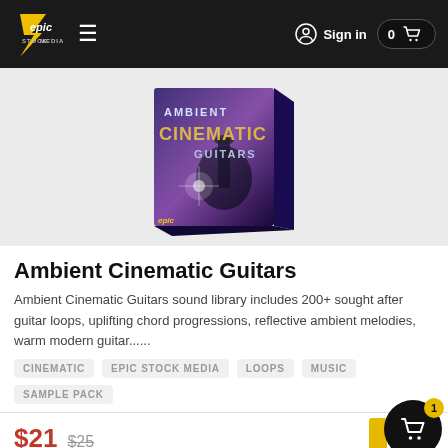Epic Stock Media — Sign in — 0 cart items
[Figure (photo): Product box image for Ambient Cinematic Guitars sound library — box art showing guitar silhouette with purple/blue cinematic lighting and text 'AMBIENT CINEMATIC GUITARS']
Ambient Cinematic Guitars
Ambient Cinematic Guitars sound library includes 200+ sought after guitar loops, uplifting chord progressions, reflective ambient melodies, warm modern guitar......
CINEMATIC
EPIC STOCK MEDIA
LOOPS
MUSIC
SAMPLE PACK
$21  $25